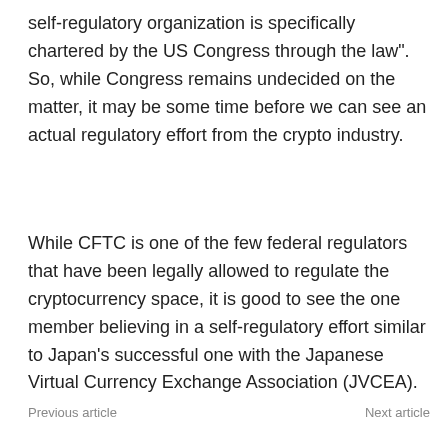self-regulatory organization is specifically chartered by the US Congress through the law". So, while Congress remains undecided on the matter, it may be some time before we can see an actual regulatory effort from the crypto industry.
While CFTC is one of the few federal regulators that have been legally allowed to regulate the cryptocurrency space, it is good to see the one member believing in a self-regulatory effort similar to Japan’s successful one with the Japanese Virtual Currency Exchange Association (JVCEA).
Previous article    Next article